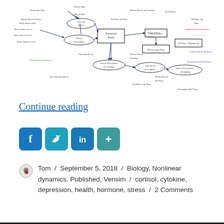[Figure (network-graph): Vensim system dynamics model diagram showing stress/cortisol feedback loops with nodes like External Stress, Perceived Stress, Stress Relief, Cortisol, RelTone Adjustment, and various other variables connected by arrows indicating causal relationships.]
Continue reading
[Figure (infographic): Social sharing buttons: Facebook, Twitter, LinkedIn, and a plus/more button]
Tom / September 5, 2018 / Biology, Nonlinear dynamics, Published, Vensim / cortisol, cytokine, depression, health, hormone, stress / 2 Comments